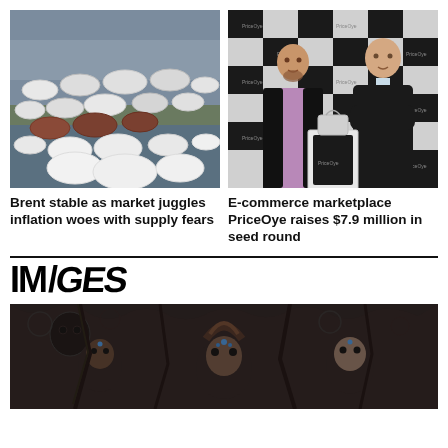[Figure (photo): Aerial view of oil storage tanks at an industrial port area]
[Figure (photo): Two men in suits standing in front of a black and white checkered PriceOye branded backdrop]
Brent stable as market juggles inflation woes with supply fears
E-commerce marketplace PriceOye raises $7.9 million in seed round
IMAGES
[Figure (photo): Dark scene with figures in elaborate costumes/makeup against a stone-carved background]